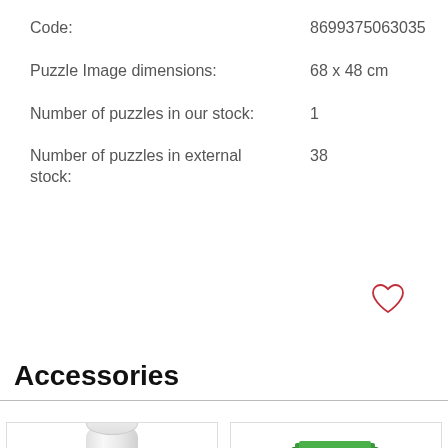Code: 8699375063035
Puzzle Image dimensions: 68 x 48 cm
Number of puzzles in our stock: 1
Number of puzzles in external stock: 38
[Figure (illustration): Red heart outline icon (favorite/wishlist button)]
Accessories
[Figure (photo): White cylindrical container (puzzle glue or similar accessory)]
[Figure (photo): Green puzzle sorting trays with puzzle pieces]